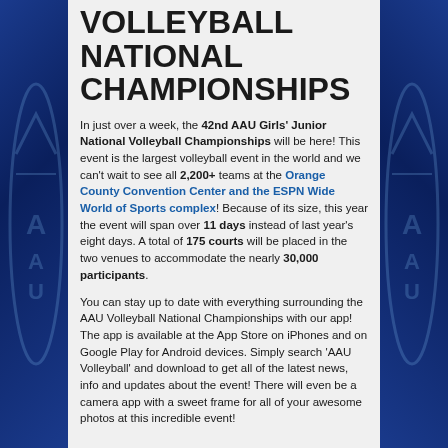VOLLEYBALL NATIONAL CHAMPIONSHIPS
In just over a week, the 42nd AAU Girls' Junior National Volleyball Championships will be here! This event is the largest volleyball event in the world and we can't wait to see all 2,200+ teams at the Orange County Convention Center and the ESPN Wide World of Sports complex! Because of its size, this year the event will span over 11 days instead of last year's eight days. A total of 175 courts will be placed in the two venues to accommodate the nearly 30,000 participants.
You can stay up to date with everything surrounding the AAU Volleyball National Championships with our app! The app is available at the App Store on iPhones and on Google Play for Android devices. Simply search 'AAU Volleyball' and download to get all of the latest news, info and updates about the event! There will even be a camera app with a sweet frame for all of your awesome photos at this incredible event!